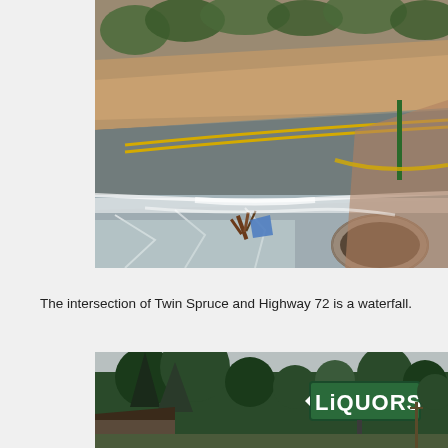[Figure (photo): A flooded road at the intersection of Twin Spruce and Highway 72, with water cascading over the road edge like a waterfall. Debris including branches and a blue object are visible in the rushing water. A large corrugated metal culvert pipe is visible on the right side. A hillside with trees and exposed dirt is in the background. Yellow barriers are visible.]
The intersection of Twin Spruce and Highway 72 is a waterfall.
[Figure (photo): A rural scene with tall pine trees, a small building with a dark roof visible at lower left, and a green Liquors sign visible on the right side among trees against an overcast sky.]